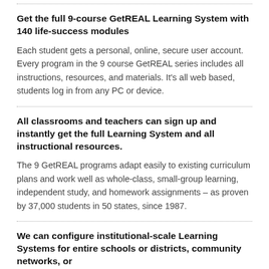Get the full 9-course GetREAL Learning System with 140 life-success modules
Each student gets a personal, online, secure user account. Every program in the 9 course GetREAL series includes all instructions, resources, and materials. It's all web based, students log in from any PC or device.
All classrooms and teachers can sign up and instantly get the full Learning System and all instructional resources.
The 9 GetREAL programs adapt easily to existing curriculum plans and work well as whole-class, small-group learning, independent study, and homework assignments – as proven by 37,000 students in 50 states, since 1987.
We can configure institutional-scale Learning Systems for entire schools or districts, community networks, or